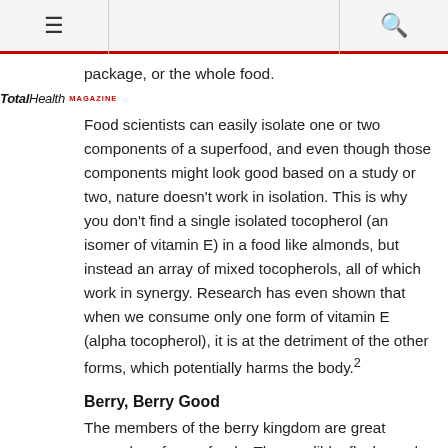≡  [search icon]
package, or the whole food.
TotalHealth MAGAZINE
Food scientists can easily isolate one or two components of a superfood, and even though those components might look good based on a study or two, nature doesn't work in isolation. This is why you don't find a single isolated tocopherol (an isomer of vitamin E) in a food like almonds, but instead an array of mixed tocopherols, all of which work in synergy. Research has even shown that when we consume only one form of vitamin E (alpha tocopherol), it is at the detriment of the other forms, which potentially harms the body.²
Berry, Berry Good
The members of the berry kingdom are great examples of superfoods. These edible, fleshy and colorful fruits are full of antioxidants that can actually help in reversing and preventing diseases that are associated with free radicals.³